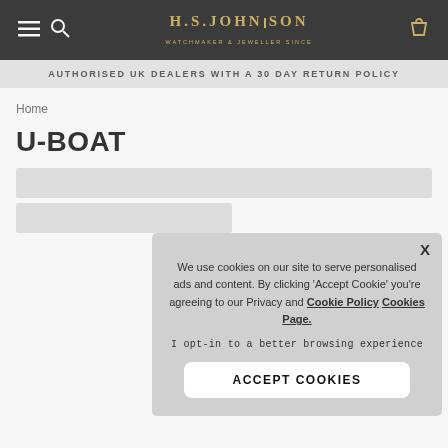H.S. JOHNSON WATCHMAKER & JEWELLER SINCE — navigation bar with menu, search, and bag icons
AUTHORISED UK DEALERS WITH A 30 DAY RETURN POLICY
Home
U-BOAT
[Figure (screenshot): Cookie consent modal overlay with close X button, text: We use cookies on our site to serve personalised ads and content. By clicking 'Accept Cookie' you're agreeing to our Privacy and Cookie Policy Cookies Page. I opt-in to a better browsing experience. ACCEPT COOKIES button.]